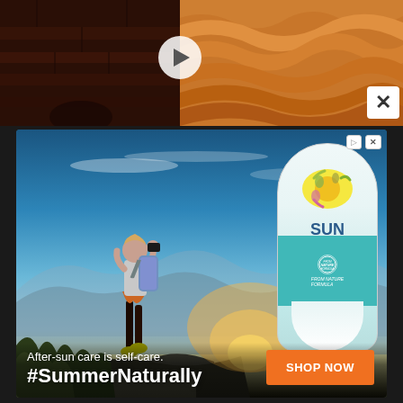[Figure (screenshot): Top bar showing partial video thumbnails - left side dark brick/background, right side sandy wavy texture, with play button and close X button overlay]
[Figure (photo): Advertisement for SunBurnt After-Sun Gel. Background shows a hiker with backpack standing on rocky mountain peak at sunset with golden light. Right side shows a SunBurnt After-Sun Gel product tube. Bottom text reads 'After-sun care is self-care.' and '#SummerNaturally' with an orange 'SHOP NOW' button. Small ad badge in top-right corner.]